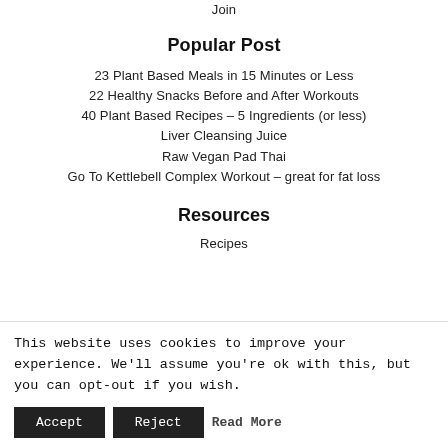Join
Popular Post
23 Plant Based Meals in 15 Minutes or Less
22 Healthy Snacks Before and After Workouts
40 Plant Based Recipes – 5 Ingredients (or less)
Liver Cleansing Juice
Raw Vegan Pad Thai
Go To Kettlebell Complex Workout – great for fat loss
Resources
Recipes
This website uses cookies to improve your experience. We'll assume you're ok with this, but you can opt-out if you wish.
Accept  Reject  Read More